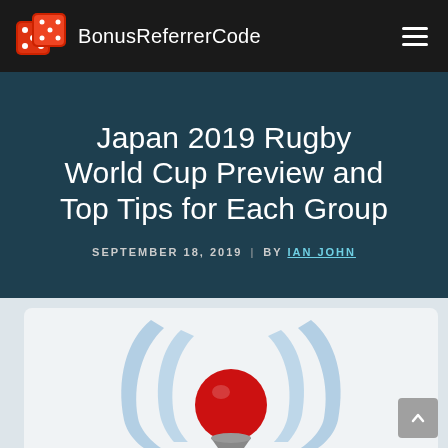BonusReferrerCode
Japan 2019 Rugby World Cup Preview and Top Tips for Each Group
SEPTEMBER 18, 2019  |  BY IAN JOHN
[Figure (illustration): Rugby World Cup 2019 Japan trophy logo illustration with silver curved lines and Japanese red circle motif on a light grey card background]